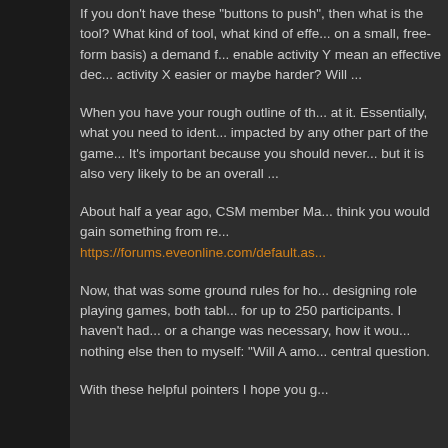If you don't have these "buttons to push", then what is the tool? What kind of tool, what kind of effect... on a small, free-form basis) a demand f... enable activity Y mean an effective dec... activity X easier or maybe harder? Will ...
When you have your rough outline of th... at it. Essentially, what you need to ident... impacted by any other part of the game... It's important because you should never... but it is also very likely to be an overall ...
About half a year ago, CSM member Ma... think you would gain something from re... https://forums.eveonline.com/default.as...
Now, that was some ground rules for ho... designing role playing games, both tabl... for up to 250 participants. I haven't had... or a change was necessary, how it wou... nothing else then to myself: "Will A amo... central question.
With these helpful pointers I hope you g...